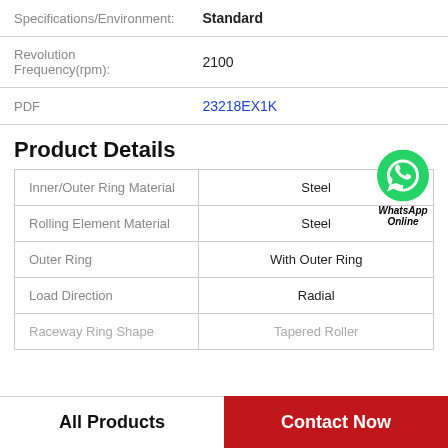| Specifications/Environment: | Standard |
| Revolution Frequency(rpm): | 2100 |
| PDF | 23218EX1K |
Product Details
| Inner/Outer Ring Material | Steel |
| Rolling Element Material | Steel |
| Outer Ring | With Outer Ring |
| Load Direction | Radial |
| Raceway Ring Shape | Tapered Roller |
All Products
Contact Now